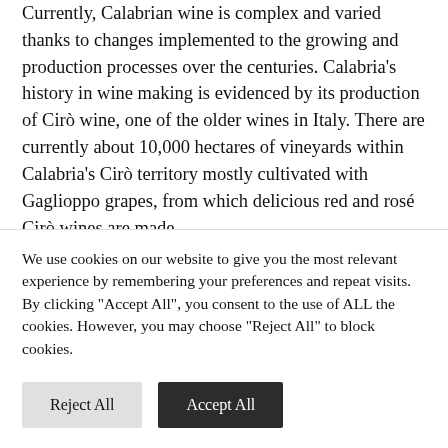Currently, Calabrian wine is complex and varied thanks to changes implemented to the growing and production processes over the centuries. Calabria's history in wine making is evidenced by its production of Cirò wine, one of the older wines in Italy. There are currently about 10,000 hectares of vineyards within Calabria's Cirò territory mostly cultivated with Gaglioppo grapes, from which delicious red and rosé Cirò wines are made.
Calabria is also home to the wine appellation of Terre di Cosenza DOP, which has an area of about 4,500 hectares of vineyards, distributed in the 7 sub-areas;
We use cookies on our website to give you the most relevant experience by remembering your preferences and repeat visits. By clicking "Accept All", you consent to the use of ALL the cookies. However, you may choose "Reject All" to block cookies.